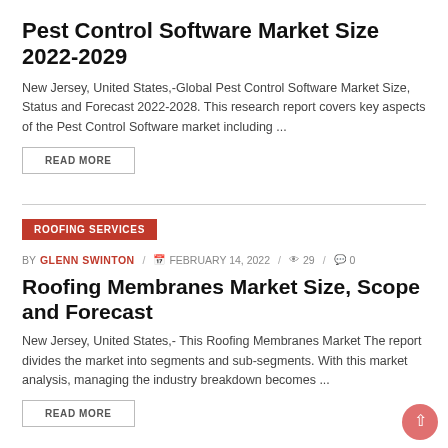Pest Control Software Market Size 2022-2029
New Jersey, United States,-Global Pest Control Software Market Size, Status and Forecast 2022-2028. This research report covers key aspects of the Pest Control Software market including ...
READ MORE
ROOFING SERVICES
BY GLENN SWINTON / 📅 FEBRUARY 14, 2022 / 👁 29 / 💬 0
Roofing Membranes Market Size, Scope and Forecast
New Jersey, United States,- This Roofing Membranes Market The report divides the market into segments and sub-segments. With this market analysis, managing the industry breakdown becomes ...
READ MORE